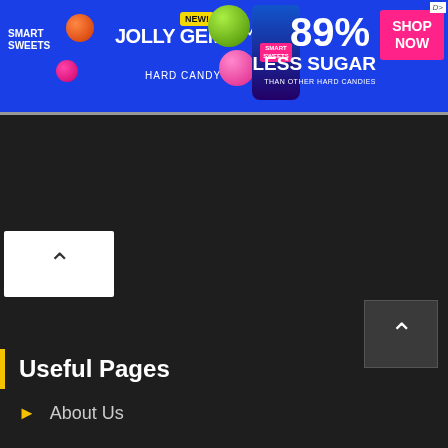[Figure (illustration): Smart Sweets Jolly Gems Hard Candy advertisement banner. Blue background with colorful candy pieces, a package of Jolly Gems, and text reading '89% LESS SUGAR THAN OTHER HARD CANDIES'. Yellow 'NEW!' badge. Pink 'SHOP NOW' button in top-right corner.]
[Figure (screenshot): Dark website interface showing a scroll-up chevron button (white on light background) in top-left area below the ad banner, a large dark content area, and a scroll-up button (white chevron on dark gray) in bottom-right of dark area.]
Useful Pages
About Us